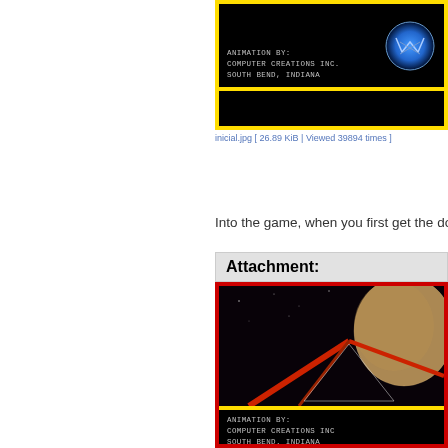[Figure (screenshot): Screenshot of animation credit screen: ANIMATION BY: COMPUTER CREATIONS INC. SOUTH BEND, INDIANA with a blue glowing logo on dark background, framed in yellow border]
inicial.jpg [ 26.89 KiB | Viewed 39894 times ]
Into the game, when you first get the dome (v
Attachment:
[Figure (screenshot): Screenshot of 3D rendered scene showing a pyramid/geometric shape with dramatic lighting on dark background, framed in red border, with animation credit bar at bottom showing ANIMATION BY: COMPUTER CREATIONS INC. SOUTH BEND, INDIANA]